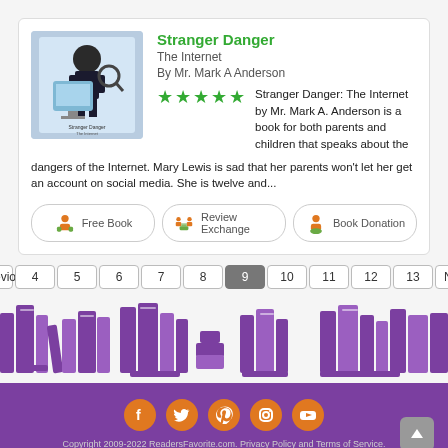Stranger Danger
The Internet
By Mr. Mark A Anderson
Stranger Danger: The Internet by Mr. Mark A. Anderson is a book for both parents and children that speaks about the dangers of the Internet. Mary Lewis is sad that her parents won't let her get an account on social media. She is twelve and...
Free Book
Review Exchange
Book Donation
Previous 4 5 6 7 8 9 10 11 12 13 Next
[Figure (illustration): Purple silhouette books banner footer decoration]
Copyright 2009-2022 ReadersFavorite.com. Privacy Policy and Terms of Service.